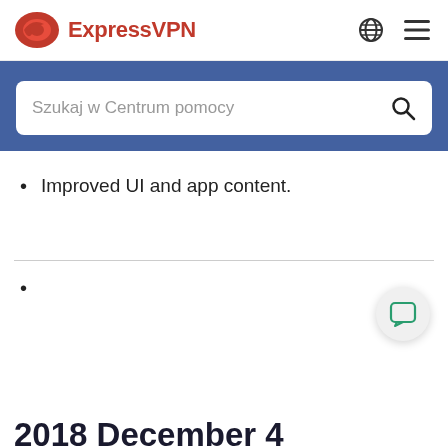ExpressVPN
[Figure (screenshot): ExpressVPN search bar with placeholder text 'Szukaj w Centrum pomocy' on blue background]
Improved UI and app content.
2018 December 4